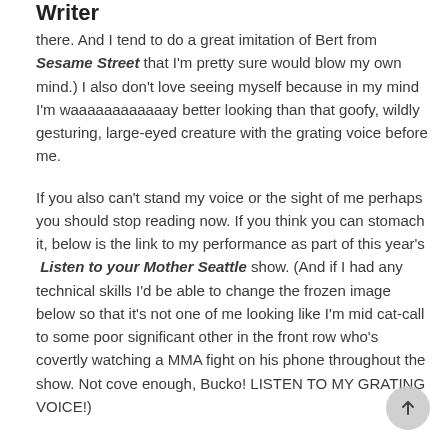Writer
there. And I tend to do a great imitation of Bert from Sesame Street that I'm pretty sure would blow my own mind.) I also don't love seeing myself because in my mind I'm waaaaaaaaaaaay better looking than that goofy, wildly gesturing, large-eyed creature with the grating voice before me.
If you also can't stand my voice or the sight of me perhaps you should stop reading now. If you think you can stomach it, below is the link to my performance as part of this year's Listen to your Mother Seattle show. (And if I had any technical skills I'd be able to change the frozen image below so that it's not one of me looking like I'm mid cat-call to some poor significant other in the front row who's covertly watching a MMA fight on his phone throughout the show. Not cove enough, Bucko! LISTEN TO MY GRATING VOICE!)